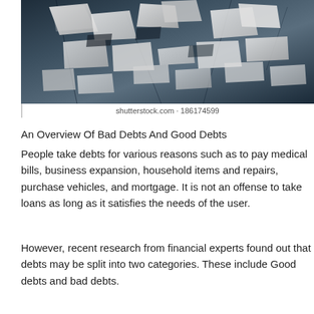[Figure (photo): Broken 3D letters or text fragments scattered on a dark cracked surface, black and white high-contrast image resembling shattered debt or financial text]
shutterstock.com · 186174599
An Overview Of Bad Debts And Good Debts
People take debts for various reasons such as to pay medical bills, business expansion, household items and repairs, purchase vehicles, and mortgage. It is not an offense to take loans as long as it satisfies the needs of the user.
However, recent research from financial experts found out that debts may be split into two categories. These include Good debts and bad debts.